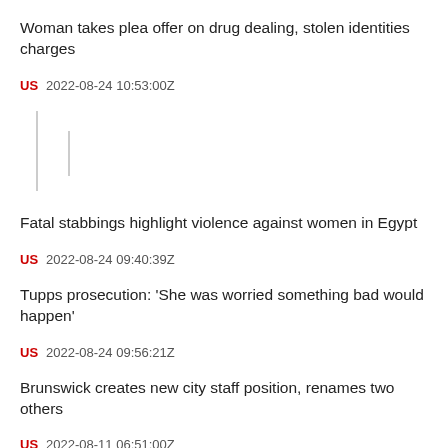Woman takes plea offer on drug dealing, stolen identities charges
US  2022-08-24 10:53:00Z
[Figure (other): Two vertical gray lines of different heights representing a visual divider or loading placeholder]
Fatal stabbings highlight violence against women in Egypt
US  2022-08-24 09:40:39Z
Tupps prosecution: 'She was worried something bad would happen'
US  2022-08-24 09:56:21Z
Brunswick creates new city staff position, renames two others
US  2022-08-11 06:51:00Z
Lawsuit against Randolph sheriff dismissed